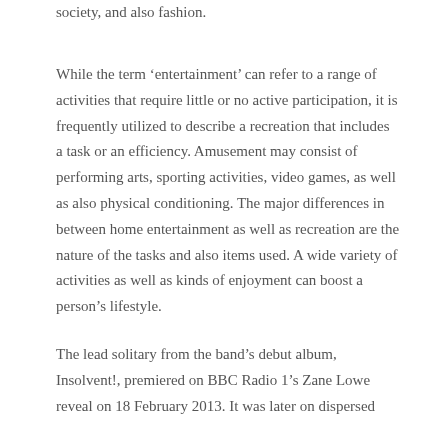society, and also fashion.
While the term ‘entertainment’ can refer to a range of activities that require little or no active participation, it is frequently utilized to describe a recreation that includes a task or an efficiency. Amusement may consist of performing arts, sporting activities, video games, as well as also physical conditioning. The major differences in between home entertainment as well as recreation are the nature of the tasks and also items used. A wide variety of activities as well as kinds of enjoyment can boost a person’s lifestyle.
The lead solitary from the band’s debut album, Insolvent!, premiered on BBC Radio 1’s Zane Lowe reveal on 18 February 2013. It was later on dispersed